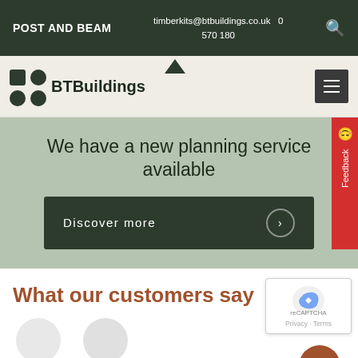POST AND BEAM | timberkits@btbuildings.co.uk | 0 570 180
[Figure (logo): BTBuildings logo with dark green square grid icon and text BTBuildings]
We have a new planning service available
Discover more
What our customers say